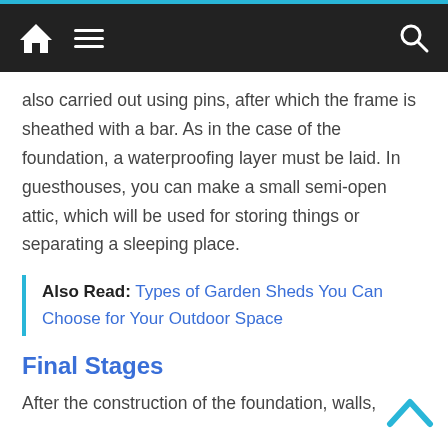Navigation bar with home, menu, and search icons
also carried out using pins, after which the frame is sheathed with a bar. As in the case of the foundation, a waterproofing layer must be laid. In guesthouses, you can make a small semi-open attic, which will be used for storing things or separating a sleeping place.
Also Read: Types of Garden Sheds You Can Choose for Your Outdoor Space
Final Stages
After the construction of the foundation, walls,